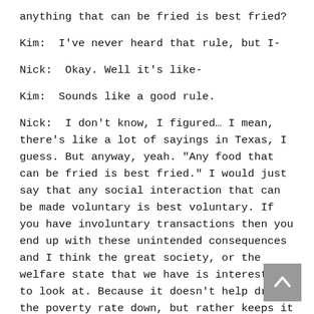anything that can be fried is best fried?
Kim:  I've never heard that rule, but I-
Nick:  Okay. Well it's like-
Kim:  Sounds like a good rule.
Nick:  I don't know, I figured… I mean, there's like a lot of sayings in Texas, I guess. But anyway, yeah. "Any food that can be fried is best fried." I would just say that any social interaction that can be made voluntary is best voluntary. If you have involuntary transactions then you end up with these unintended consequences and I think the great society, or the welfare state that we have is interesting to look at. Because it doesn't help drive the poverty rate down, but rather keeps it at a steady level. Whereas before it had been going down. You know, I just think that we owe it to ourselves in this great innovative time to find new solutions, offer new opportunities for